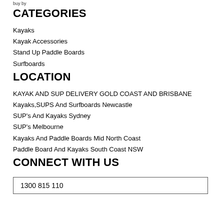buy by
CATEGORIES
Kayaks
Kayak Accessories
Stand Up Paddle Boards
Surfboards
LOCATION
KAYAK AND SUP DELIVERY GOLD COAST AND BRISBANE
Kayaks,SUPS And Surfboards Newcastle
SUP's And Kayaks Sydney
SUP's Melbourne
Kayaks And Paddle Boards Mid North Coast
Paddle Board And Kayaks South Coast NSW
CONNECT WITH US
1300 815 110